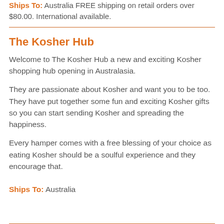Ships To: Australia FREE shipping on retail orders over $80.00. International available.
The Kosher Hub
Welcome to The Kosher Hub a new and exciting Kosher shopping hub opening in Australasia.
They are passionate about Kosher and want you to be too. They have put together some fun and exciting Kosher gifts so you can start sending Kosher and spreading the happiness.
Every hamper comes with a free blessing of your choice as eating Kosher should be a soulful experience and they encourage that.
Ships To: Australia